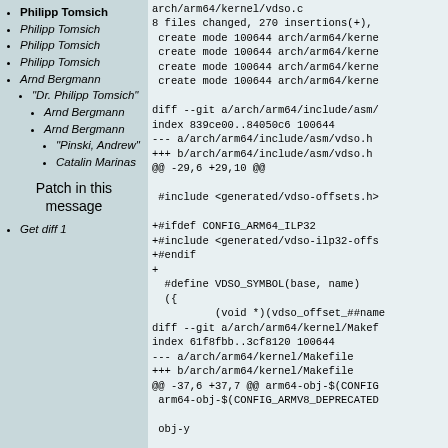Philipp Tomsich (bold)
Philipp Tomsich (italic)
Philipp Tomsich (italic)
Philipp Tomsich (italic)
Arnd Bergmann (italic)
"Dr. Philipp Tomsich" (italic)
Arnd Bergmann (italic)
Arnd Bergmann (italic)
"Pinski, Andrew" (italic)
Catalin Marinas (italic)
Patch in this message
Get diff 1
arch/arm64/kernel/vdso.c
8 files changed, 270 insertions(+),
create mode 100644 arch/arm64/kerne
create mode 100644 arch/arm64/kerne
create mode 100644 arch/arm64/kerne
create mode 100644 arch/arm64/kerne

diff --git a/arch/arm64/include/asm/
index 839ce00..84050c6 100644
--- a/arch/arm64/include/asm/vdso.h
+++ b/arch/arm64/include/asm/vdso.h
@@ -29,6 +29,10 @@

 #include <generated/vdso-offsets.h>

+#ifdef CONFIG_ARM64_ILP32
+#include <generated/vdso-ilp32-offs
+#endif
+
  #define VDSO_SYMBOL(base, name)
  ({
          (void *)(vdso_offset_##name
diff --git a/arch/arm64/kernel/Makef
index 61f8fbb..3cf8120 100644
--- a/arch/arm64/kernel/Makefile
+++ b/arch/arm64/kernel/Makefile
@@ -37,6 +37,7 @@ arm64-obj-$(CONFIG
 arm64-obj-$(CONFIG_ARMV8_DEPRECATED

 obj-y